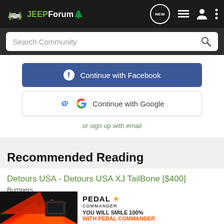JEEPForum
Search Community
[Figure (screenshot): Continue with Facebook button (blue)]
[Figure (screenshot): Continue with Google button (white)]
or sign up with email
Recommended Reading
Detours USA - Detours USA XJ TailBone [$400]
Bumpers
5
[Figure (photo): Pedal Commander advertisement banner — YOU WILL SMILE 100% WITH PEDAL COMMANDER]